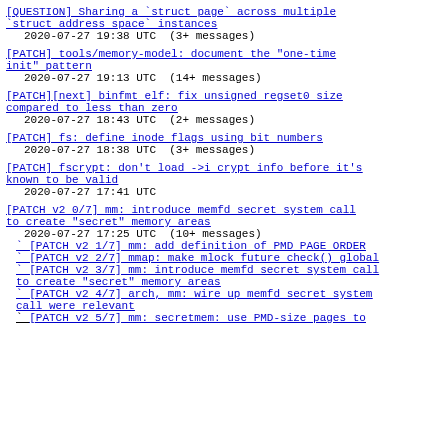[QUESTION] Sharing a `struct page` across multiple `struct address space` instances
2020-07-27 19:38 UTC  (3+ messages)
[PATCH] tools/memory-model: document the "one-time init" pattern
2020-07-27 19:13 UTC  (14+ messages)
[PATCH][next] binfmt elf: fix unsigned regset0 size compared to less than zero
2020-07-27 18:43 UTC  (2+ messages)
[PATCH] fs: define inode flags using bit numbers
2020-07-27 18:38 UTC  (3+ messages)
[PATCH] fscrypt: don't load ->i crypt info before it's known to be valid
2020-07-27 17:41 UTC
[PATCH v2 0/7] mm: introduce memfd secret system call to create "secret" memory areas
2020-07-27 17:25 UTC  (10+ messages)
` [PATCH v2 1/7] mm: add definition of PMD PAGE ORDER
` [PATCH v2 2/7] mmap: make mlock future check() global
` [PATCH v2 3/7] mm: introduce memfd secret system call to create "secret" memory areas
` [PATCH v2 4/7] arch, mm: wire up memfd secret system call were relevant
` [PATCH v2 5/7] mm: secretmem: use PMD-size pages to
` [PATCH v2 5/7] mm: secretmem: use PMD-size pages to